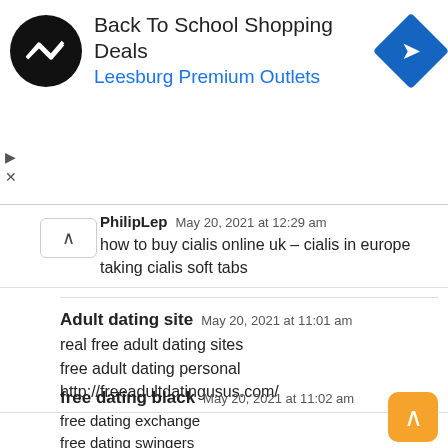[Figure (screenshot): Advertisement banner: Back To School Shopping Deals - Leesburg Premium Outlets, with circular black logo with arrows and a blue diamond navigation icon]
PhilipLep   May 20, 2021 at 12:29 am
how to buy cialis online uk – cialis in europe
taking cialis soft tabs
Adult dating site   May 20, 2021 at 11:01 am
real free adult dating sites
free adult dating personal
http://freeadultdatingusus.com/
free dating black   May 20, 2021 at 11:02 am
free dating exchange
free dating swingers
http://freedatingfreetst.com/